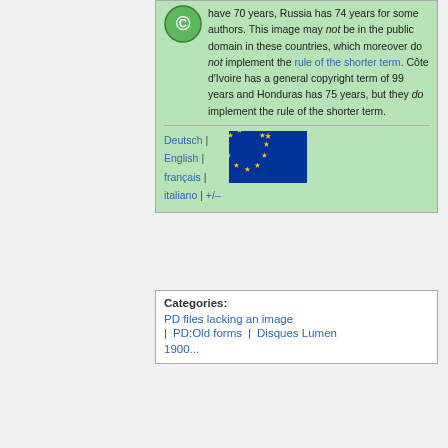have 70 years, Russia has 74 years for some authors. This image may not be in the public domain in these countries, which moreover do not implement the rule of the shorter term. Côte d'Ivoire has a general copyright term of 99 years and Honduras has 75 years, but they do implement the rule of the shorter term.
[Figure (illustration): EU flag: blue background with a circle of 12 gold stars]
Deutsch | English | français | italiano | +/–
Categories:
PD files lacking an image
PD:Old forms | Disques Lumen
1900...